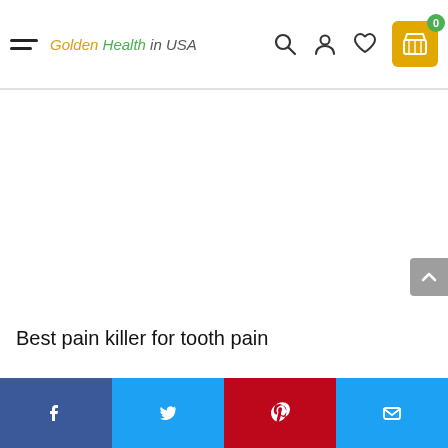Golden Health in USA — navigation header with hamburger menu, search, account, wishlist, and cart icons
Best pain killer for tooth pain
Social share bar: Facebook, Twitter, Pinterest, Email